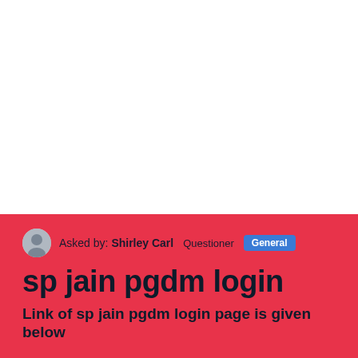Asked by: Shirley Carl   Questioner   General
sp jain pgdm login
Link of sp jain pgdm login page is given below